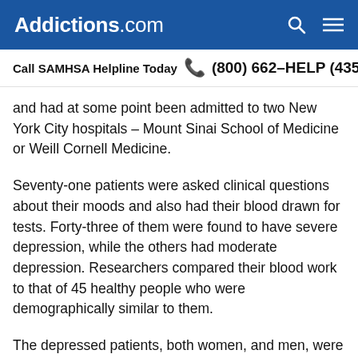Addictions.com
Call SAMHSA Helpline Today  (800) 662-HELP (4357)
and had at some point been admitted to two New York City hospitals – Mount Sinai School of Medicine or Weill Cornell Medicine.
Seventy-one patients were asked clinical questions about their moods and also had their blood drawn for tests. Forty-three of them were found to have severe depression, while the others had moderate depression. Researchers compared their blood work to that of 45 healthy people who were demographically similar to them.
The depressed patients, both women, and men, were found to have significantly lower levels of acetyl-L-